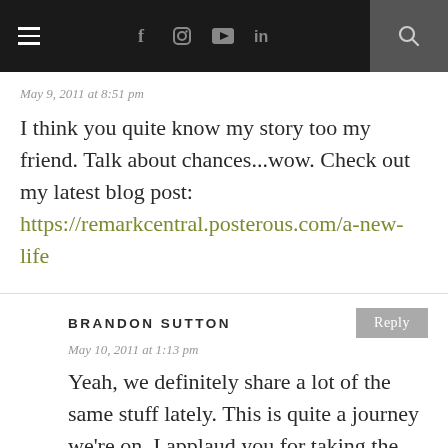Navigation bar with hamburger menu, social icons (f, Instagram, YouTube, in), and search
May 9, 2011 at 8:51 pm
I think you quite know my story too my friend. Talk about chances...wow. Check out my latest blog post: https://remarkcentral.posterous.com/a-new-life
BRANDON SUTTON
May 10, 2011 at 1:13 pm
Yeah, we definitely share a lot of the same stuff lately. This is quite a journey we're on. I applaud you for taking the huge step to move